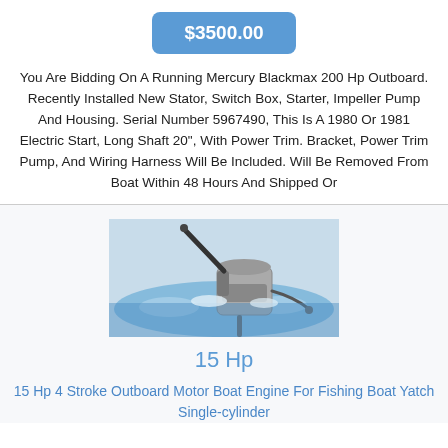$3500.00
You Are Bidding On A Running Mercury Blackmax 200 Hp Outboard. Recently Installed New Stator, Switch Box, Starter, Impeller Pump And Housing. Serial Number 5967490, This Is A 1980 Or 1981 Electric Start, Long Shaft 20", With Power Trim. Bracket, Power Trim Pump, And Wiring Harness Will Be Included. Will Be Removed From Boat Within 48 Hours And Shipped Or
[Figure (photo): Outboard motor / boat engine partially submerged in water with splash, grey engine body with handle arm extending upward]
15 Hp
15 Hp 4 Stroke Outboard Motor Boat Engine For Fishing Boat Yatch Single-cylinder